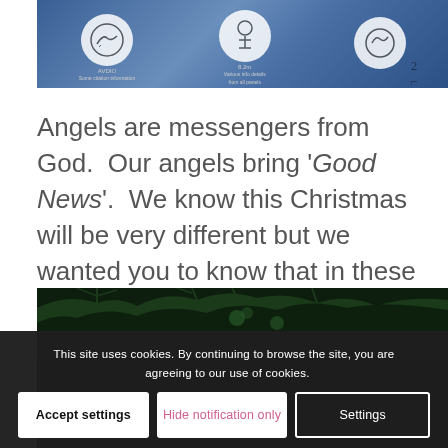[Figure (photo): Blue banner/fabric with circular badge logos and white stripe, partial view from above]
Angels are messengers from God.  Our angels bring ‘Good News’.  We know this Christmas will be very different but we wanted you to know that in these difficult times, we are praying for our whole community.
[Figure (photo): Night scene with trees and people silhouettes in dark setting]
This site uses cookies. By continuing to browse the site, you are agreeing to our use of cookies.
Accept settings | Hide notification only | Settings